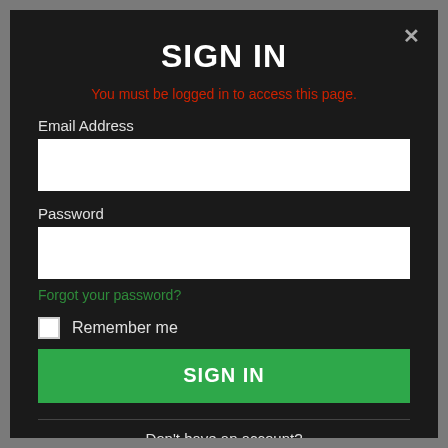SIGN IN
You must be logged in to access this page.
Email Address
Password
Forgot your password?
Remember me
SIGN IN
Don't have an account?